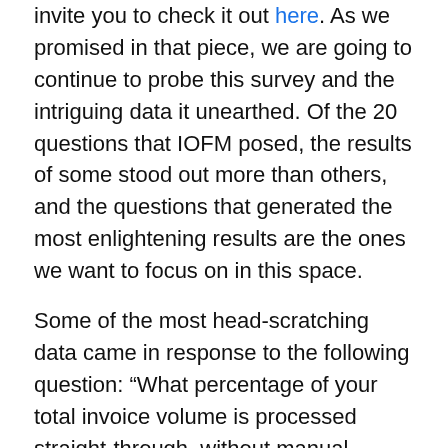invite you to check it out here. As we promised in that piece, we are going to continue to probe this survey and the intriguing data it unearthed. Of the 20 questions that IOFM posed, the results of some stood out more than others, and the questions that generated the most enlightening results are the ones we want to focus on in this space.
Some of the most head-scratching data came in response to the following question: “What percentage of your total invoice volume is processed straight-through, without manual intervention?”
The pie chart below that IOFM created illustrates the high percentage of organizations that are still not taking advantage of modern automated processing, such as virtual electronic invoicing (also known as “e-invoicing”), and remain stuck in outdated processes.